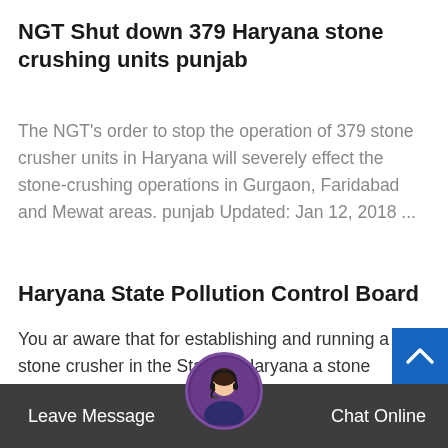NGT Shut down 379 Haryana stone crushing units punjab
The NGT's order to stop the operation of 379 stone crusher units in Haryana will severely effect the stone-crushing operations in Gurgaon, Faridabad and Mewat areas. punjab Updated: Jan 12, 2018 ...
Haryana State Pollution Control Board
You ar aware that for establishing and running a stone crusher in the State of Haryana a stone crusher licence is required as per provisions of Haryana Regulation Control of Stone Crusher Act-1991 and Rules framed there under. Further a stone crusher can only be established in a notified crusher zon over a
Leave Message   Chat Online